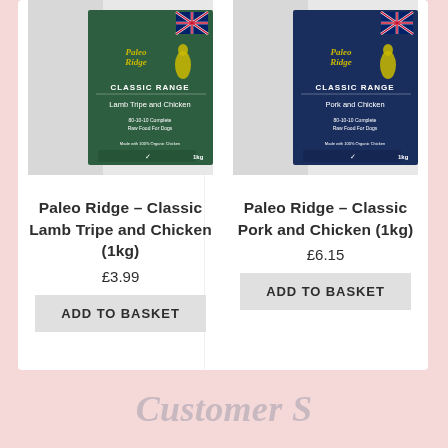[Figure (photo): Paleo Ridge Classic Lamb Tripe and Chicken 1kg product package with green background, showing brand logo and product details]
Paleo Ridge – Classic Lamb Tripe and Chicken (1kg)
£3.99
ADD TO BASKET
[Figure (photo): Paleo Ridge Classic Pork and Chicken 1kg product package with dark blue background, showing brand logo and product details]
Paleo Ridge – Classic Pork and Chicken (1kg)
£6.15
ADD TO BASKET